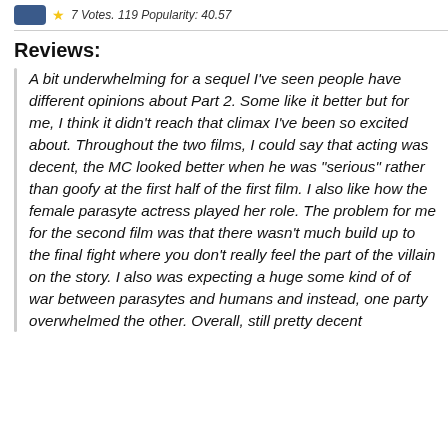7 Votes. 119 Popularity: 40.57
Reviews:
A bit underwhelming for a sequel I've seen people have different opinions about Part 2. Some like it better but for me, I think it didn't reach that climax I've been so excited about. Throughout the two films, I could say that acting was decent, the MC looked better when he was "serious" rather than goofy at the first half of the first film. I also like how the female parasyte actress played her role. The problem for me for the second film was that there wasn't much build up to the final fight where you don't really feel the part of the villain on the story. I also was expecting a huge some kind of war between parasytes and humans and instead, one party overwhelmed the other. Overall, still pretty decent